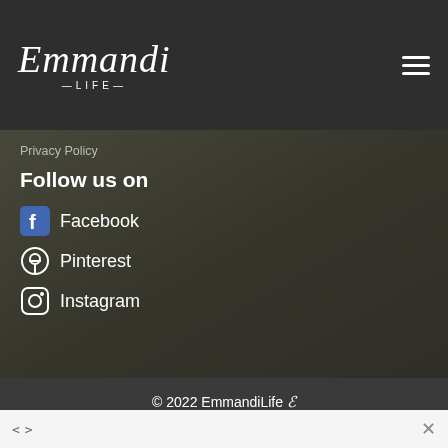[Figure (logo): Emmandi Life logo in white script font with '-LIFE-' subtitle below, on dark background with hamburger menu icon on the right]
Privacy Policy
Follow us on
Facebook
Pinterest
Instagram
© 2022 EmmandiLife  Powered by GalaxyCMS™